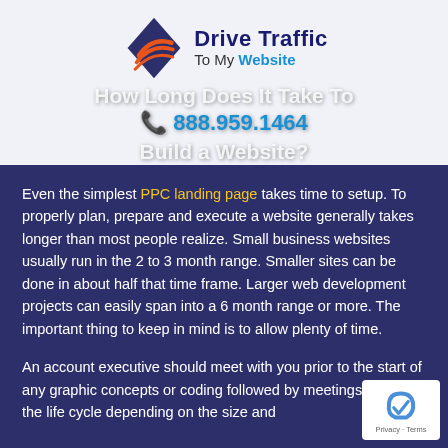[Figure (logo): Drive Traffic To My Website logo with swoosh graphic and text]
How Long Does It Take To Build a Website?
Even the simplest PPC landing page takes time to setup. To properly plan, prepare and execute a website generally takes longer than most people realize. Small business websites usually run in the 2 to 3 month range. Smaller sites can be done in about half that time frame. Larger web development projects can easily span into a 6 month range or more. The important thing to keep in mind is to allow plenty of time.
An account executive should meet with you prior to the start of any graphic concepts or coding followed by meetings during the life cycle depending on the size and